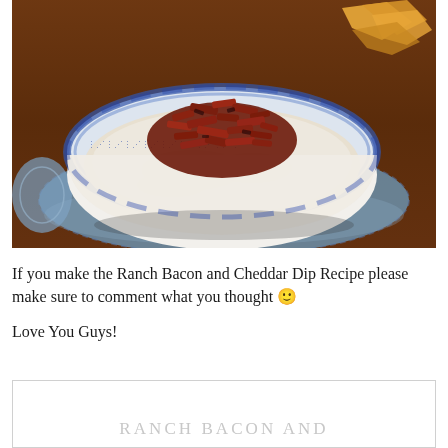[Figure (photo): A blue and white decorative bowl filled with a creamy white dip topped with crumbled crispy bacon pieces, placed on a blue crocheted cloth napkin on a wooden surface. Chips are visible in the background.]
If you make the Ranch Bacon and Cheddar Dip Recipe please make sure to comment what you thought 🙂
Love You Guys!
RANCH BACON AND